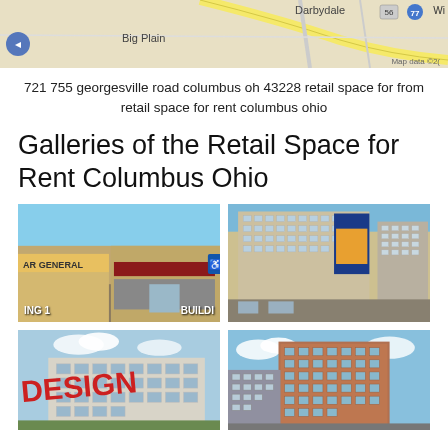[Figure (map): Partial map showing Darbydale and Big Plain area near Columbus, Ohio with road networks. Map data copyright notice visible.]
721 755 georgesville road columbus oh 43228 retail space for from retail space for rent columbus ohio
Galleries of the Retail Space for Rent Columbus Ohio
[Figure (photo): Retail strip mall building with Family Dollar / Dollar General store and Ranor Delmonte signage, red awnings, accessibility sign visible. Labels: ING 1 and BUILDI]
[Figure (photo): Large multi-story commercial/hotel building with blue billboard panel, street-level parking visible.]
[Figure (photo): Modern commercial building with large red DESIGN sign on exterior, multi-story with large windows.]
[Figure (photo): Tall modern office/hotel building with brownish-red facade and glass panels.]